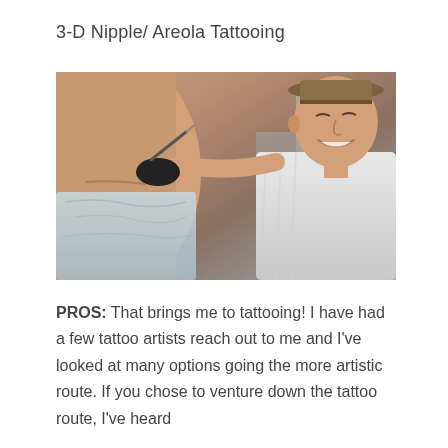3-D Nipple/ Areola Tattooing
[Figure (photo): A tattoo artist wearing a brown hat and white shirt, wearing black gloves, working on a patient's chest in a clinical setting. The patient's torso is partially covered with a light blue cloth. The artist is smiling and holding a tattoo instrument.]
PROS: That brings me to tattooing! I have had a few tattoo artists reach out to me and I've looked at many options going the more artistic route. If you chose to venture down the tattoo route, I've heard